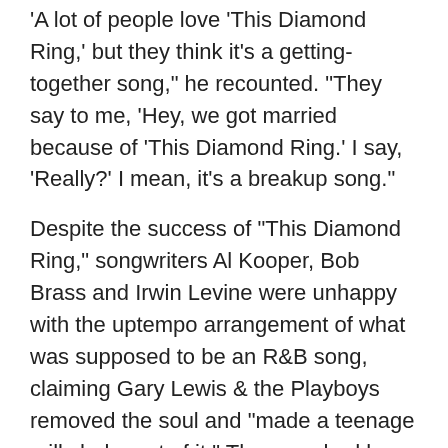'A lot of people love 'This Diamond Ring,' but they think it's a getting-together song," he recounted. "They say to me, 'Hey, we got married because of 'This Diamond Ring.' I say, 'Really?' I mean, it's a breakup song."
Despite the success of "This Diamond Ring," songwriters Al Kooper, Bob Brass and Irwin Levine were unhappy with the uptempo arrangement of what was supposed to be an R&B song, claiming Gary Lewis & the Playboys removed the soul and "made a teenage milkshake out of it." The song had been written for The Drifters, who passed on the opportunity to record it.